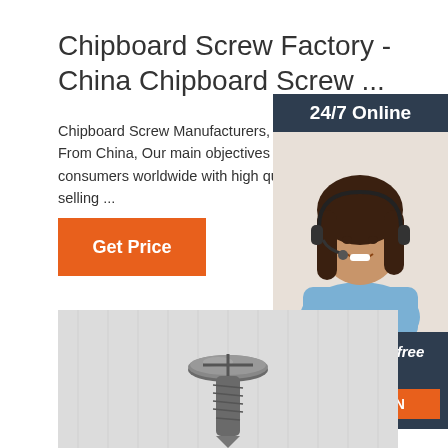Chipboard Screw Factory - China Chipboard Screw ...
Chipboard Screw Manufacturers, Factory, Su... From China, Our main objectives are to deliv... consumers worldwide with high quality, comp... selling ...
[Figure (other): Orange 'Get Price' button]
[Figure (other): Side advertisement panel with '24/7 Online' header, woman with headset photo, 'Click here for free chat!' text, and orange QUOTATION button on dark navy background]
[Figure (photo): Close-up photo of a chipboard screw on a light wooden background]